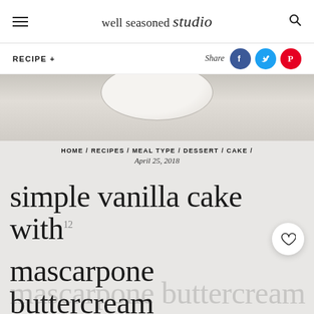well seasoned studio
RECIPE +
Share
[Figure (photo): Top-down view of a plate/cake on a light grey background, partially visible at the top of the page]
HOME / RECIPES / MEAL TYPE / DESSERT / CAKE /
April 25, 2018
simple vanilla cake with mascarpone buttercream